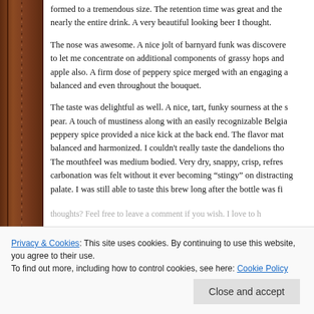formed to a tremendous size. The retention time was great and the nearly the entire drink. A very beautiful looking beer I thought.
The nose was awesome. A nice jolt of barnyard funk was discovered to let me concentrate on additional components of grassy hops and apple also. A firm dose of peppery spice merged with an engaging a balanced and even throughout the bouquet.
The taste was delightful as well. A nice, tart, funky sourness at the s pear. A touch of mustiness along with an easily recognizable Belgia peppery spice provided a nice kick at the back end. The flavor mat balanced and harmonized. I couldn't really taste the dandelions tho The mouthfeel was medium bodied. Very dry, snappy, crisp, refres carbonation was felt without it ever becoming “stingy” on distracting palate. I was still able to taste this brew long after the bottle was fi
thoughts? Feel free to leave a comment if you wish. I love to h
Privacy & Cookies: This site uses cookies. By continuing to use this website, you agree to their use.
To find out more, including how to control cookies, see here: Cookie Policy
Close and accept